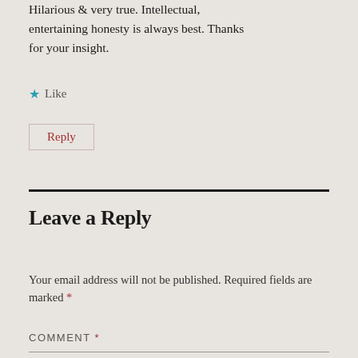Hilarious & very true. Intellectual, entertaining honesty is always best. Thanks for your insight.
★ Like
Reply
Leave a Reply
Your email address will not be published. Required fields are marked *
COMMENT *